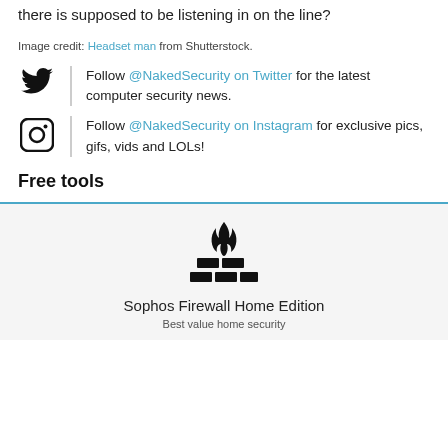…would you ever notice there is one more person than there is supposed to be listening in on the line?
Image credit: Headset man from Shutterstock.
Follow @NakedSecurity on Twitter for the latest computer security news.
Follow @NakedSecurity on Instagram for exclusive pics, gifs, vids and LOLs!
Free tools
[Figure (logo): Firewall/brick wall with flame icon representing Sophos Firewall Home Edition]
Sophos Firewall Home Edition
Best value home security